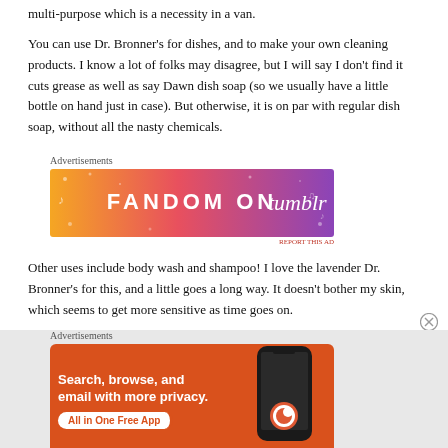multi-purpose which is a necessity in a van.
You can use Dr. Bronner's for dishes, and to make your own cleaning products. I know a lot of folks may disagree, but I will say I don't find it cuts grease as well as say Dawn dish soap (so we usually have a little bottle on hand just in case). But otherwise, it is on par with regular dish soap, without all the nasty chemicals.
[Figure (infographic): Tumblr Fandom advertisement banner with orange-to-purple gradient background and white decorative elements reading FANDOM ON tumblr]
Other uses include body wash and shampoo! I love the lavender Dr. Bronner's for this, and a little goes a long way. It doesn't bother my skin, which seems to get more sensitive as time goes on.
[Figure (infographic): DuckDuckGo advertisement with orange background, text: Search, browse, and email with more privacy. All in One Free App. Shows DuckDuckGo logo on phone.]